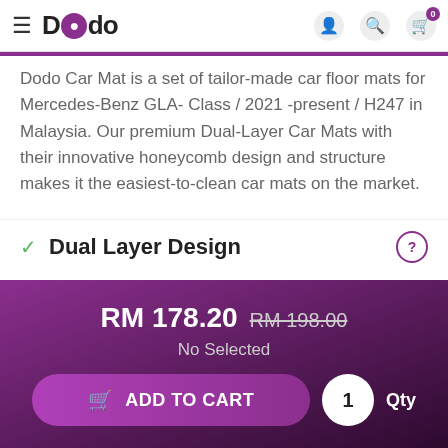Dodo — navigation header with hamburger menu, logo, user icon, search icon, cart icon (0)
Dodo Car Mat is a set of tailor-made car floor mats for Mercedes-Benz GLA- Class / 2021 -present / H247 in Malaysia. Our premium Dual-Layer Car Mats with their innovative honeycomb design and structure makes it the easiest-to-clean car mats on the market. Dodo Car Mats are made with advanced technology for your Mercedes-Benz GLA- Class / 2021 -present / H247 Our mats are odor-free, waterproof, and anti-bacterial. Free delivery for eligible orders.
✓ Dual Layer Design
RM 178.20  RM 198.00  No Selected
ADD TO CART  1  Qty